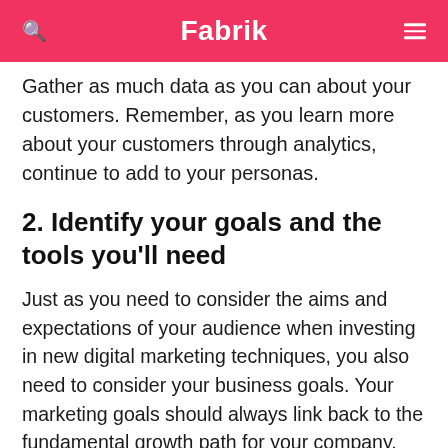Fabrik
Gather as much data as you can about your customers. Remember, as you learn more about your customers through analytics, continue to add to your personas.
2. Identify your goals and the tools you'll need
Just as you need to consider the aims and expectations of your audience when investing in new digital marketing techniques, you also need to consider your business goals. Your marketing goals should always link back to the fundamental growth path for your company. For instance, if your goal in business is to increase your revenue, then you might want to work on getting more leads to your website or improving engagement with return customers.